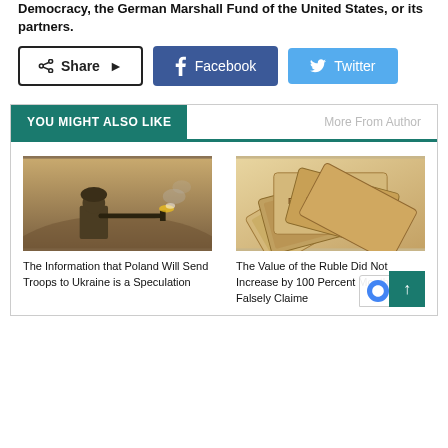Democracy, the German Marshall Fund of the United States, or its partners.
[Figure (screenshot): Share, Facebook, and Twitter social sharing buttons]
YOU MIGHT ALSO LIKE
More From Author
[Figure (photo): Soldier firing a weapon in a desert setting]
The Information that Poland Will Send Troops to Ukraine is a Speculation
[Figure (photo): Russian ruble banknotes fanned out]
The Value of the Ruble Did Not Increase by 100 Percent Month, as Falsely Claime